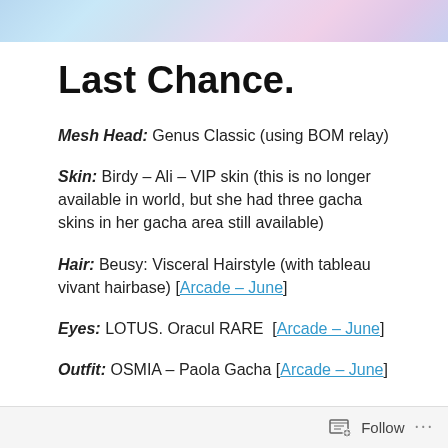[Figure (photo): Decorative banner image at top with pastel blue, pink, and purple hues]
Last Chance.
Mesh Head: Genus Classic (using BOM relay)
Skin: Birdy – Ali – VIP skin (this is no longer available in world, but she had three gacha skins in her gacha area still available)
Hair: Beusy: Visceral Hairstyle (with tableau vivant hairbase) [Arcade – June]
Eyes: LOTUS. Oracul RARE  [Arcade – June]
Outfit: OSMIA – Paola Gacha [Arcade – June]
Follow ...